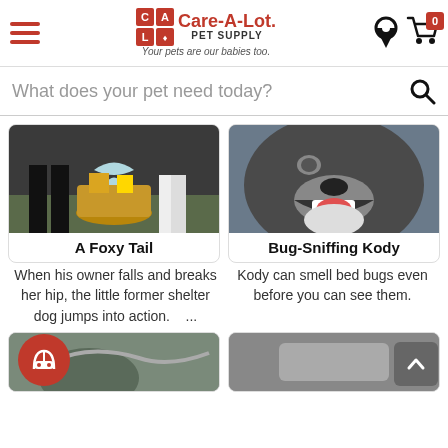Care-A-Lot Pet Supply — Your pets are our babies too.
What does your pet need today?
[Figure (photo): Photo of a gift basket with ribbons at a wedding or formal event]
A Foxy Tail
[Figure (photo): Close-up photo of a large dog sniffing with mouth open]
Bug-Sniffing Kody
When his owner falls and breaks her hip, the little former shelter dog jumps into action. ...
Kody can smell bed bugs even before you can see them.
[Figure (photo): Partially visible photo at bottom left — appears to show a dog or animal outdoors]
[Figure (photo): Partially visible dark/grey photo at bottom right]